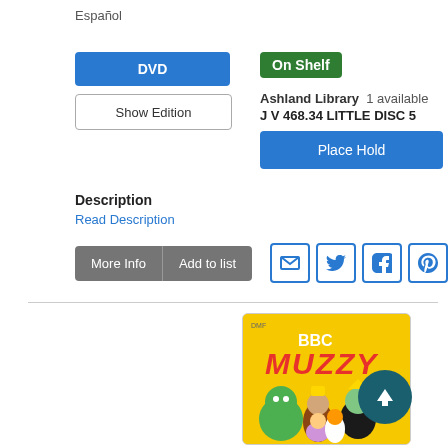Español
DVD
Show Edition
On Shelf
Ashland Library  1 available
J V 468.34 LITTLE DISC 5
Place Hold
Description
Read Description
More Info
Add to list
[Figure (illustration): BBC Muzzy DVD cover on yellow background with cartoon characters]
[Figure (illustration): Back to top button - dark teal circle with upward arrow]